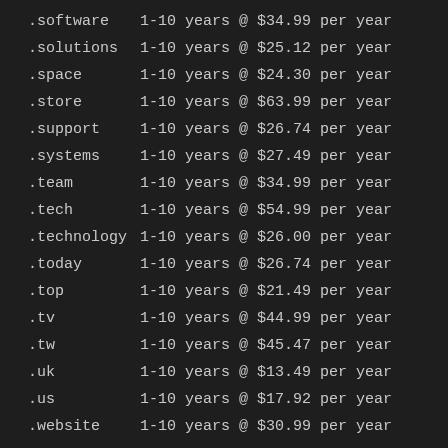.software    1-10 years @ $34.99 per year
.solutions   1-10 years @ $25.12 per year
.space       1-10 years @ $24.30 per year
.store       1-10 years @ $63.99 per year
.support     1-10 years @ $26.74 per year
.systems     1-10 years @ $27.49 per year
.team        1-10 years @ $34.99 per year
.tech        1-10 years @ $54.99 per year
.technology  1-10 years @ $26.00 per year
.today       1-10 years @ $26.74 per year
.top         1-10 years @ $21.49 per year
.tv          1-10 years @ $44.99 per year
.tw          1-10 years @ $45.47 per year
.uk          1-10 years @ $13.49 per year
.us          1-10 years @ $17.92 per year
.website     1-10 years @ $30.99 per year